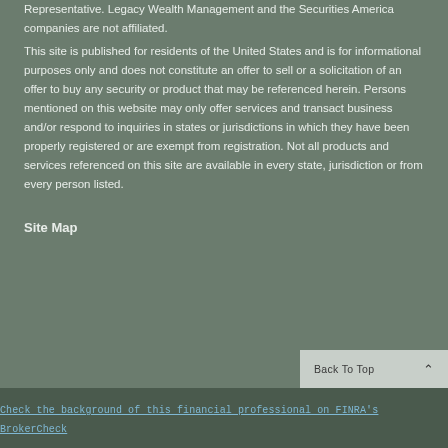Representative. Legacy Wealth Management and the Securities America companies are not affiliated.

This site is published for residents of the United States and is for informational purposes only and does not constitute an offer to sell or a solicitation of an offer to buy any security or product that may be referenced herein. Persons mentioned on this website may only offer services and transact business and/or respond to inquiries in states or jurisdictions in which they have been properly registered or are exempt from registration. Not all products and services referenced on this site are available in every state, jurisdiction or from every person listed.
Site Map
Check the background of this financial professional on FINRA's BrokerCheck